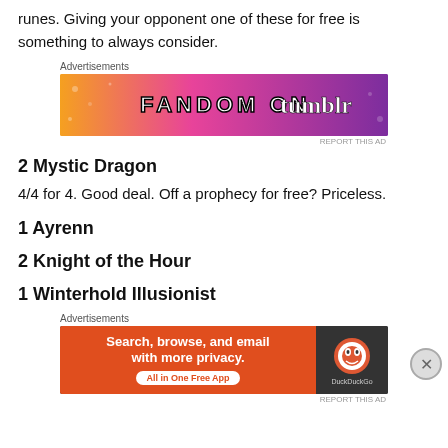runes. Giving your opponent one of these for free is something to always consider.
[Figure (infographic): Fandom on Tumblr advertisement banner with colorful gradient background (orange to purple), decorated with doodles and music notes. Text reads FANDOM ON tumblr.]
2 Mystic Dragon
4/4 for 4. Good deal. Off a prophecy for free? Priceless.
1 Ayrenn
2 Knight of the Hour
1 Winterhold Illusionist
[Figure (infographic): DuckDuckGo advertisement banner. Left side: orange background with text 'Search, browse, and email with more privacy. All in One Free App'. Right side: dark background with DuckDuckGo logo.]